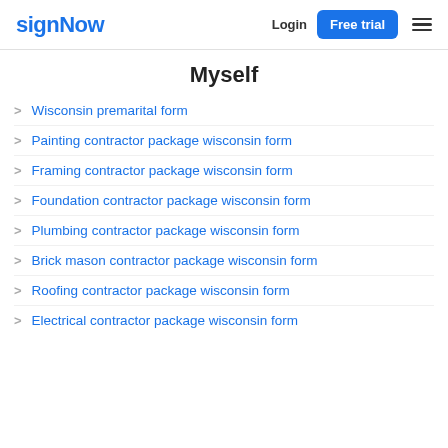signNow | Login | Free trial
Myself
Wisconsin premarital form
Painting contractor package wisconsin form
Framing contractor package wisconsin form
Foundation contractor package wisconsin form
Plumbing contractor package wisconsin form
Brick mason contractor package wisconsin form
Roofing contractor package wisconsin form
Electrical contractor package wisconsin form